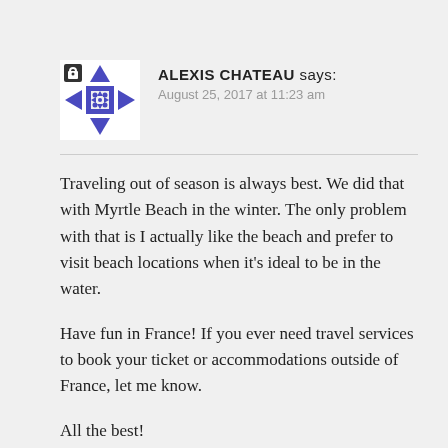[Figure (illustration): Avatar icon for Alexis Chateau — a stylized blue geometric star/cross pattern with a lock symbol in the top-left corner, on a white square background]
ALEXIS CHATEAU says:
August 25, 2017 at 11:23 am
Traveling out of season is always best. We did that with Myrtle Beach in the winter. The only problem with that is I actually like the beach and prefer to visit beach locations when it's ideal to be in the water.
Have fun in France! If you ever need travel services to book your ticket or accommodations outside of France, let me know.
All the best!